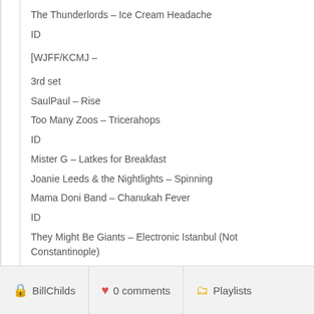The Thunderlords – Ice Cream Headache
ID
[WJFF/KCMJ –
3rd set
SaulPaul – Rise
Too Many Zoos – Tricerahops
ID
Mister G – Latkes for Breakfast
Joanie Leeds & the Nightlights – Spinning
Mama Doni Band – Chanukah Fever
ID
They Might Be Giants – Electronic Istanbul (Not Constantinople)
They Might Be Giants – Spare the Rock
BillChilds  0 comments  Playlists